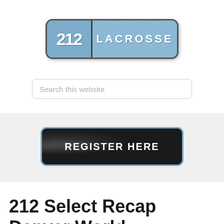[Figure (logo): 212 Lacrosse logo: blue/gray rounded rectangle with '212' on the left side and 'LACROSSE' text on the right side with distressed/vintage texture]
Search this website
[Figure (other): Register Here button: dark/black textured rounded rectangle with light blue border and white text 'REGISTER HERE']
212 Select Recap Denver World Championships